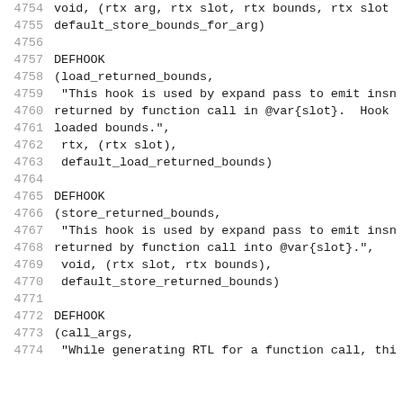4754   void, (rtx arg, rtx slot, rtx bounds, rtx slot
4755   default_store_bounds_for_arg)
4756
4757   DEFHOOK
4758   (load_returned_bounds,
4759    "This hook is used by expand pass to emit insn
4760   returned by function call in @var{slot}.  Hook
4761   loaded bounds.",
4762    rtx, (rtx slot),
4763    default_load_returned_bounds)
4764
4765   DEFHOOK
4766   (store_returned_bounds,
4767    "This hook is used by expand pass to emit insn
4768   returned by function call into @var{slot}.",
4769    void, (rtx slot, rtx bounds),
4770    default_store_returned_bounds)
4771
4772   DEFHOOK
4773   (call_args,
4774    "While generating RTL for a function call, thi